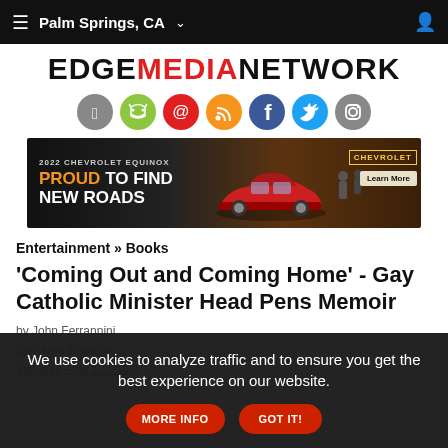Palm Springs, CA
[Figure (logo): EDGE MEDIA NETWORK logo in black and red text]
[Figure (infographic): Social media icon circles: Apple, Android, Email, RSS, Facebook, Twitter, Instagram]
[Figure (photo): 2022 Chevrolet Equinox advertisement banner: PROUD TO FIND NEW ROADS, Chevrolet Learn More]
Entertainment » Books
'Coming Out and Coming Home' - Gay Catholic Minister Head Pens Memoir
by John Ferrannini
Bay Area Reporter
Tuesday April 12, 2022
We use cookies to analyze traffic and to ensure you get the best experience on our website.